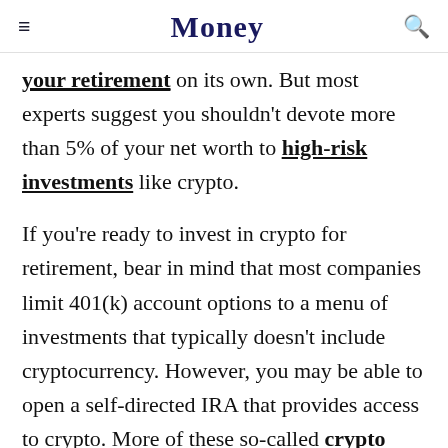Money
your retirement on its own. But most experts suggest you shouldn't devote more than 5% of your net worth to high-risk investments like crypto.
If you're ready to invest in crypto for retirement, bear in mind that most companies limit 401(k) account options to a menu of investments that typically doesn't include cryptocurrency. However, you may be able to open a self-directed IRA that provides access to crypto. More of these so-called crypto IRA providers have been